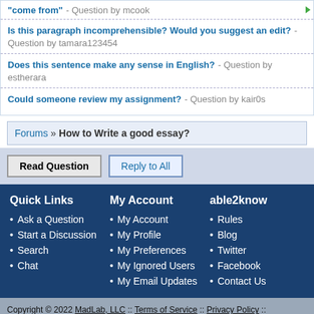"come from" - Question by mcook
Is this paragraph incomprehensible? Would you suggest an edit? - Question by tamara123454
Does this sentence make any sense in English? - Question by estherara
Could someone review my assignment? - Question by kair0s
Forums » How to Write a good essay?
Read Question   Reply to All
Quick Links
Ask a Question
Start a Discussion
Search
Chat
My Account
My Account
My Profile
My Preferences
My Ignored Users
My Email Updates
able2know
Rules
Blog
Twitter
Facebook
Contact Us
Copyright © 2022 MadLab, LLC :: Terms of Service :: Privacy Policy :: Page generated in 0.07 seconds on 09/01/2022 at 08:41:28